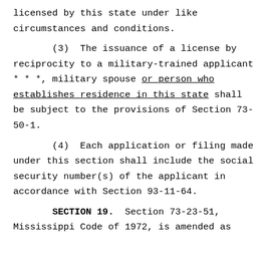licensed by this state under like circumstances and conditions.
(3)  The issuance of a license by reciprocity to a military-trained applicant * * *, military spouse or person who establishes residence in this state shall be subject to the provisions of Section 73-50-1.
(4)  Each application or filing made under this section shall include the social security number(s) of the applicant in accordance with Section 93-11-64.
SECTION 19.  Section 73-23-51, Mississippi Code of 1972, is amended as